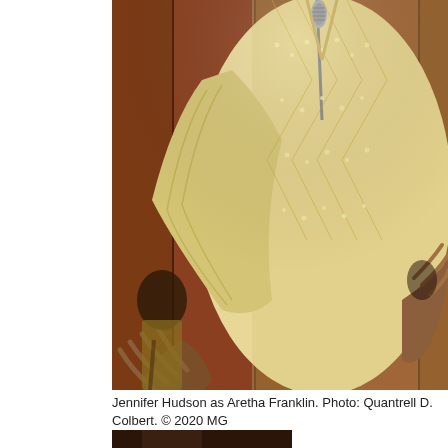[Figure (photo): Jennifer Hudson performing as Aretha Franklin, wearing a heavily beaded and embroidered cream/gold gown with wide flared sleeves, singing into a microphone on stage. A musician is visible in the background on the left.]
Jennifer Hudson as Aretha Franklin. Photo: Quantrell D. Colbert. © 2020 MG
[Figure (photo): Bottom portion of another photo, partially visible, dark background]